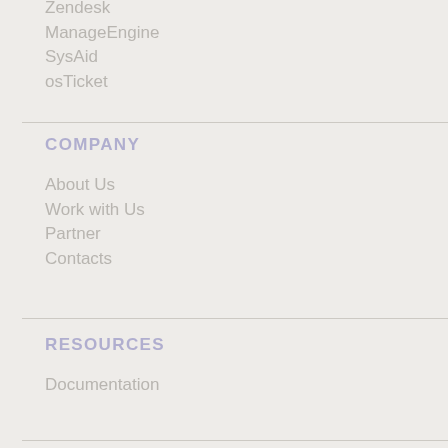Zendesk
ManageEngine
SysAid
osTicket
COMPANY
About Us
Work with Us
Partner
Contacts
RESOURCES
Documentation